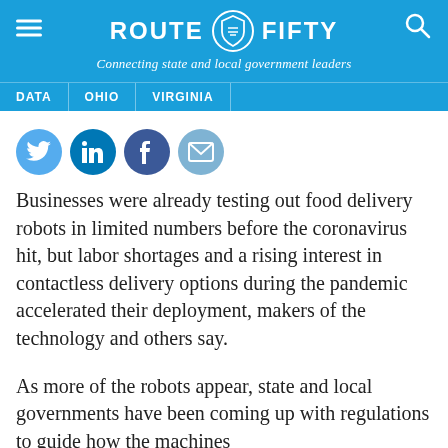ROUTE FIFTY — Connecting state and local government leaders
DATA | OHIO | VIRGINIA
[Figure (illustration): Social media share icons: Twitter (light blue), LinkedIn (dark blue), Facebook (dark navy blue), Email (medium blue)]
Businesses were already testing out food delivery robots in limited numbers before the coronavirus hit, but labor shortages and a rising interest in contactless delivery options during the pandemic accelerated their deployment, makers of the technology and others say.
As more of the robots appear, state and local governments have been coming up with regulations to guide how the machines...